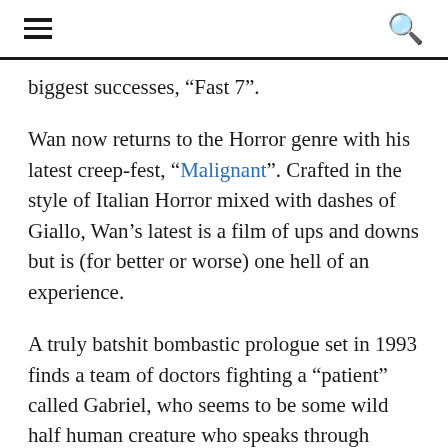[menu icon] [search icon]
biggest successes, “Fast 7”.
Wan now returns to the Horror genre with his latest creep-fest, “Malignant”. Crafted in the style of Italian Horror mixed with dashes of Giallo, Wan’s latest is a film of ups and downs but is (for better or worse) one hell of an experience.
A truly batshit bombastic prologue set in 1993 finds a team of doctors fighting a “patient” called Gabriel, who seems to be some wild half human creature who speaks through electronics and moves like a wild animal. After he viciously attacks some of the